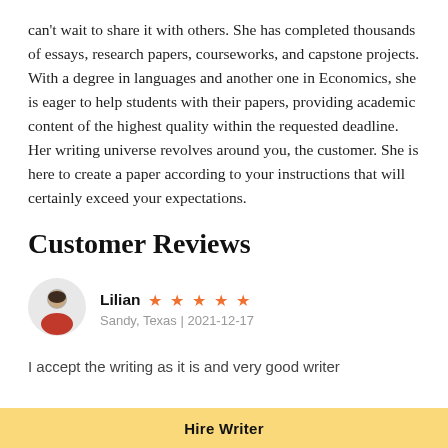can't wait to share it with others. She has completed thousands of essays, research papers, courseworks, and capstone projects. With a degree in languages and another one in Economics, she is eager to help students with their papers, providing academic content of the highest quality within the requested deadline. Her writing universe revolves around you, the customer. She is here to create a paper according to your instructions that will certainly exceed your expectations.
Customer Reviews
[Figure (illustration): Circular avatar icon of a person with dark hair and red shirt on a light grey background]
Lilian ★★★★★
Sandy, Texas | 2021-12-17
I accept the writing as it is and very good writer
Hire Writer